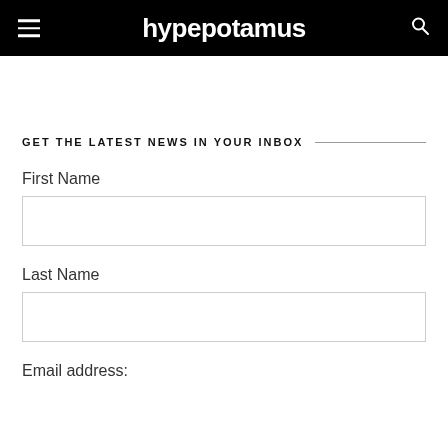hypepotamus
GET THE LATEST NEWS IN YOUR INBOX
First Name
Last Name
Email address: